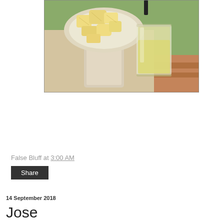[Figure (photo): A plate of cut jackfruit pieces and a glass of yellow juice on an outdoor wooden table with green foliage in the background.]
False Bluff at 3:00 AM
Share
14 September 2018
Jose